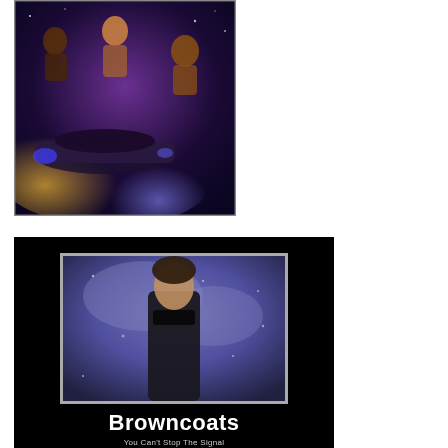[Figure (illustration): Sci-fi fantasy art illustration showing multiple characters (a diverse crew) with a spaceship in the foreground against a purple and golden cosmic background — Firefly/Serenity fan artwork]
[Figure (photo): Motivational-style meme with black background. Inside a grey-bordered frame: a photo of a dark-haired young man in a black jacket standing outdoors in snowy/cloudy conditions. Below the frame: large white bold text 'Browncoats' and smaller white text 'You Can't Stop The Signal']